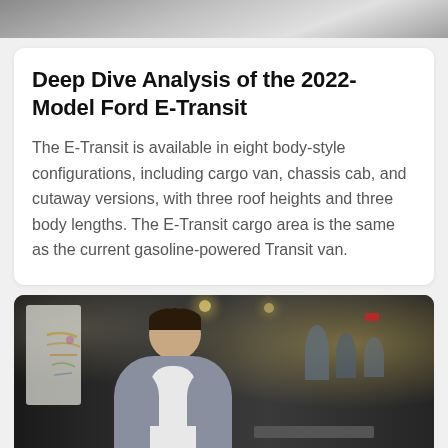[Figure (photo): Partial top strip of a photo, appears to be a vehicle or interior scene, cropped at top of page]
Deep Dive Analysis of the 2022-Model Ford E-Transit
The E-Transit is available in eight body-style configurations, including cargo van, chassis cab, and cutaway versions, with three roof heights and three body lengths. The E-Transit cargo area is the same as the current gasoline-powered Transit van.
[Figure (photo): A smiling man in a grey blazer and white shirt seated in a modern office/workspace, with blurred people and a collaborative workspace visible in the background, whiteboard with colorful markings on the left.]